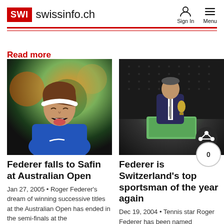SWI swissinfo.ch | Sign In | Menu
Read more
[Figure (photo): Roger Federer celebrating on a tennis court, mouth open in a yell, wearing a white headband and blue shirt]
Federer falls to Safin at Australian Open
Jan 27, 2005  •  Roger Federer's dream of winning successive titles at the Australian Open has ended in the semi-finals at the
[Figure (photo): A man in a suit holding a trophy on a stage with a green lectern and a dark dotted backdrop]
Federer is Switzerland's top sportsman of the year again
Dec 19, 2004  •  Tennis star Roger Federer has been named Switzerland's top sp